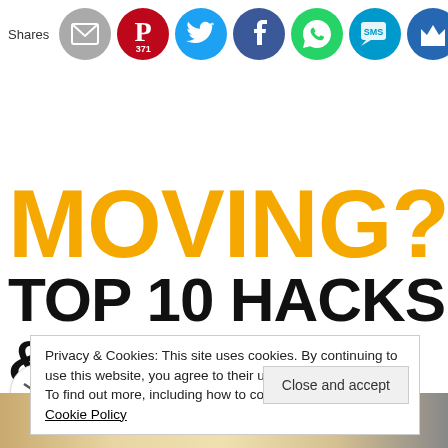[Figure (infographic): Social share bar with icons: email (grey), Pinterest (red, 371 shares), Twitter (blue), Facebook (dark blue), WhatsApp (green), SMS (light blue), Crown/Mailer (dark blue). Label 'Shares' on left.]
MOVING? TOP 10 HACKS & TIPS
Privacy & Cookies: This site uses cookies. By continuing to use this website, you agree to their use.
To find out more, including how to control cookies, see here: Cookie Policy
Close and accept
[Figure (illustration): Forward/share arrow icon button, circular white button at bottom left]
[Figure (photo): Partial bottom image strip, appears to show a warm-toned photo (moving/home related)]